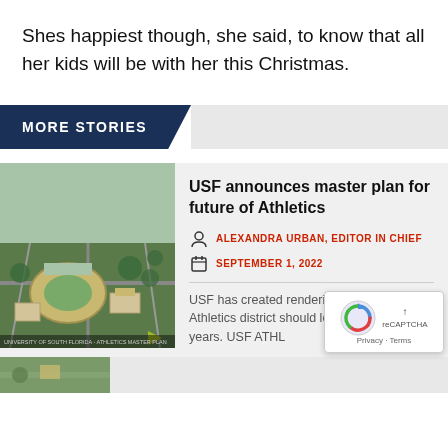Shes happiest though, she said, to know that all her kids will be with her this Christmas.
MORE STORIES
USF announces master plan for future of Athletics
ALEXANDRA URBAN, EDITOR IN CHIEF
SEPTEMBER 1, 2022
[Figure (photo): Aerial rendering of USF Athletics district campus master plan]
USF has created renderings of what the Athletics district should look like within five years. USF ATHL